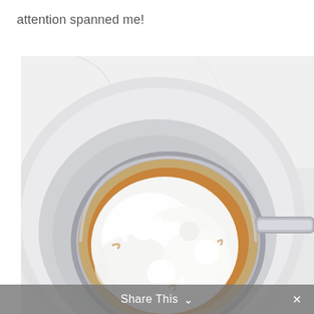attention spanned me!
[Figure (photo): Overhead view of a metal sieve/strainer filled with white flour and brown spice (likely cinnamon), sitting inside a white ceramic bowl on a white marble surface.]
Share This ∨  ×